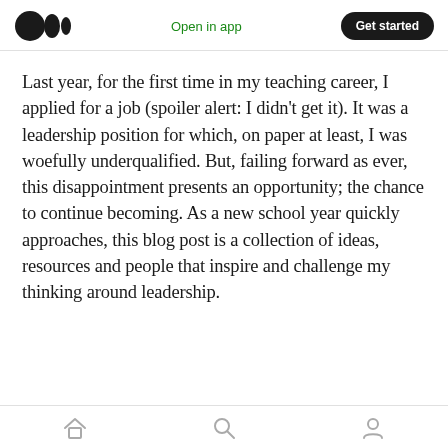Open in app | Get started
Last year, for the first time in my teaching career, I applied for a job (spoiler alert: I didn't get it). It was a leadership position for which, on paper at least, I was woefully underqualified. But, failing forward as ever, this disappointment presents an opportunity; the chance to continue becoming. As a new school year quickly approaches, this blog post is a collection of ideas, resources and people that inspire and challenge my thinking around leadership.
Home | Search | Profile